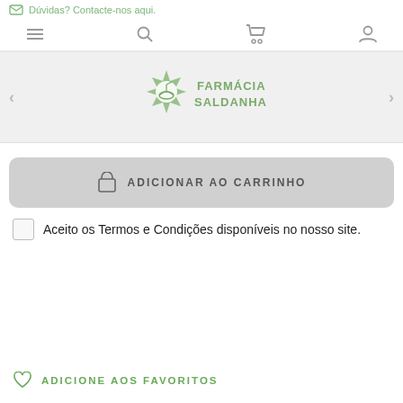Dúvidas? Contacte-nos aqui.
[Figure (logo): Farmácia Saldanha logo — green star with mortar and pestle icon and text FARMÁCIA SALDANHA]
ADICIONAR AO CARRINHO
Aceito os Termos e Condições disponíveis no nosso site.
ADICIONE AOS FAVORITOS